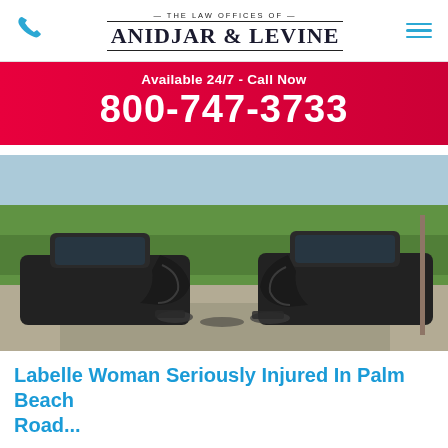The Law Offices of Anidjar & Levine
Available 24/7 - Call Now
800-747-3733
[Figure (photo): Two severely wrecked black vehicles facing each other on a road, with green trees and grass in the background. Both cars have heavily damaged front ends from a head-on collision.]
Labelle Woman Seriously Injured In Palm Beach Road...